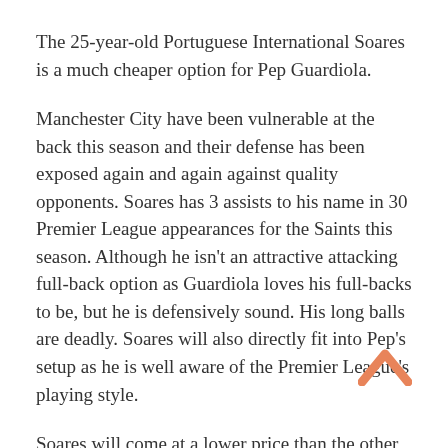The 25-year-old Portuguese International Soares is a much cheaper option for Pep Guardiola.
Manchester City have been vulnerable at the back this season and their defense has been exposed again and again against quality opponents. Soares has 3 assists to his name in 30 Premier League appearances for the Saints this season. Although he isn't an attractive attacking full-back option as Guardiola loves his full-backs to be, but he is defensively sound. His long balls are deadly. Soares will also directly fit into Pep's setup as he is well aware of the Premier League's playing style.
Soares will come at a lower price than the other potential targets. But Soares might be an alternative choice for Pep if he fails to land other top targets.